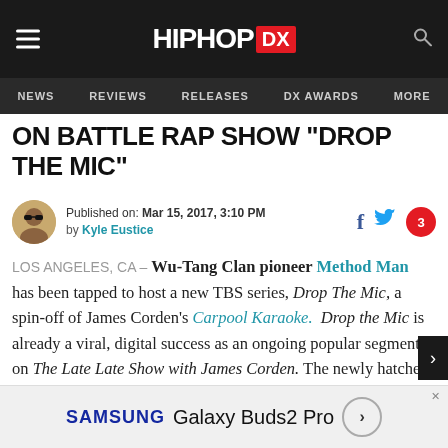HIPHOP DX — NEWS | REVIEWS | RELEASES | DX AWARDS | MORE
ON BATTLE RAP SHOW "DROP THE MIC"
Published on: Mar 15, 2017, 3:10 PM by Kyle Eustice
LOS ANGELES, CA – Wu-Tang Clan pioneer Method Man has been tapped to host a new TBS series, Drop The Mic, a spin-off of James Corden's Carpool Karaoke. Drop the Mic is already a viral, digital success as an ongoing popular segment on The Late Late Show with James Corden. The newly hatched version enlists entertainers from all over the world to engage in good old-fashioned rap battles, and finds Mr. Meth and model Hailey Baldwin helming the event.
[Figure (logo): Samsung Galaxy Buds2 Pro advertisement banner at the bottom of the page]